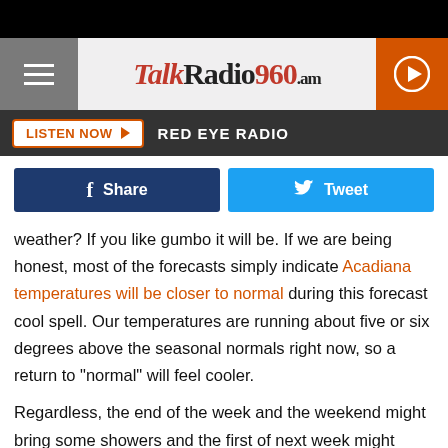[Figure (logo): TalkRadio960am logo with hamburger menu and play button]
LISTEN NOW ▶   RED EYE RADIO
[Figure (infographic): Facebook Share and Twitter Tweet social sharing buttons]
weather? If you like gumbo it will be. If we are being honest, most of the forecasts simply indicate Acadiana temperatures will be closer to normal during this forecast cool spell. Our temperatures are running about five or six degrees above the seasonal normals right now, so a return to "normal" will feel cooler.
Regardless, the end of the week and the weekend might bring some showers and the first of next week might bring us all